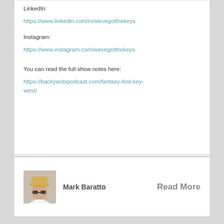LinkedIn:
https://www.linkedin.com/in/wevegotthekeys
Instagram:
https://www.instagram.com/wevegotthekeys
You can read the full show notes here:
https://backyardspodcast.com/fantasy-fest-key-west/
[Figure (photo): Profile photo of Mark Baratto, a man wearing a white shirt and a straw hat with sunglasses]
Mark Baratto
Read More